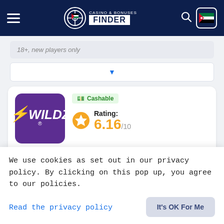Casino & Bonuses Finder
18+, new players only
Cashable | Rating: 6.16/10
Available for players from Jordan
Welcome Bonus: 100%
We use cookies as set out in our privacy policy. By clicking on this pop up, you agree to our policies.
Read the privacy policy
It's OK For Me